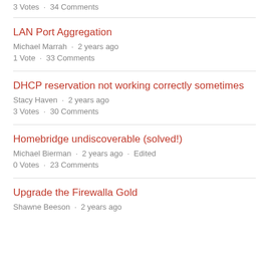3 Votes · 34 Comments
LAN Port Aggregation
Michael Marrah · 2 years ago
1 Vote · 33 Comments
DHCP reservation not working correctly sometimes
Stacy Haven · 2 years ago
3 Votes · 30 Comments
Homebridge undiscoverable (solved!)
Michael Bierman · 2 years ago · Edited
0 Votes · 23 Comments
Upgrade the Firewalla Gold
Shawne Beeson · 2 years ago